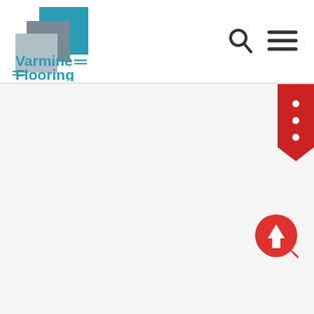[Figure (logo): Varmine Flooring logo: overlapping square tiles in teal/blue and gray, with company name 'Varmine Flooring' in teal text with horizontal rule decorations]
[Figure (illustration): Search icon (magnifying glass) in dark gray, navigation menu icon (three horizontal lines) in dark gray - top right header navigation icons]
[Figure (illustration): Red bookmark/ribbon shaped button with three white dots (vertical ellipsis) on the right edge of the page]
[Figure (illustration): Red teardrop/leaf shaped scroll-to-top button with white upward arrow, positioned bottom right of page]